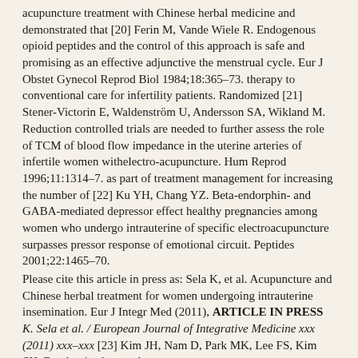acupuncture treatment with Chinese herbal medicine and demonstrated that [20] Ferin M, Vande Wiele R. Endogenous opioid peptides and the control of this approach is safe and promising as an effective adjunctive the menstrual cycle. Eur J Obstet Gynecol Reprod Biol 1984;18:365–73. therapy to conventional care for infertility patients. Randomized [21] Stener-Victorin E, Waldenström U, Andersson SA, Wikland M. Reduction controlled trials are needed to further assess the role of TCM of blood flow impedance in the uterine arteries of infertile women withelectro-acupuncture. Hum Reprod 1996;11:1314–7. as part of treatment management for increasing the number of [22] Ku YH, Chang YZ. Beta-endorphin- and GABA-mediated depressor effect healthy pregnancies among women who undergo intrauterine of specific electroacupuncture surpasses pressor response of emotional circuit. Peptides 2001;22:1465–70.
Please cite this article in press as: Sela K, et al. Acupuncture and Chinese herbal treatment for women undergoing intrauterine insemination. Eur J Integr Med (2011), ARTICLE IN PRESS K. Sela et al. / European Journal of Integrative Medicine xxx (2011) xxx–xxx [23] Kim JH, Nam D, Park MK, Lee FS, Kim SH. Randomized control